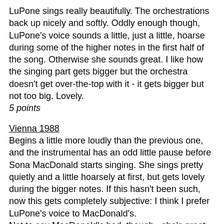LuPone sings really beautifully. The orchestrations back up nicely and softly. Oddly enough though, LuPone's voice sounds a little, just a little, hoarse during some of the higher notes in the first half of the song. Otherwise she sounds great. I like how the singing part gets bigger but the orchestra doesn't get over-the-top with it - it gets bigger but not too big. Lovely.
5 points
Vienna 1988
Begins a little more loudly than the previous one, and the instrumental has an odd little pause before Sona MacDonald starts singing. She sings pretty quietly and a little hoarsely at first, but gets lovely during the bigger notes. If this hasn't been such, now this gets completely subjective: I think I prefer LuPone's voice to MacDonald's.
Not to say MacDonald's bad, though - she's great too.
4 points
Paris 1991
Not any dramatic orchestration changes. If I know my French (which I do, really badly), it seems to me Fantine begins her